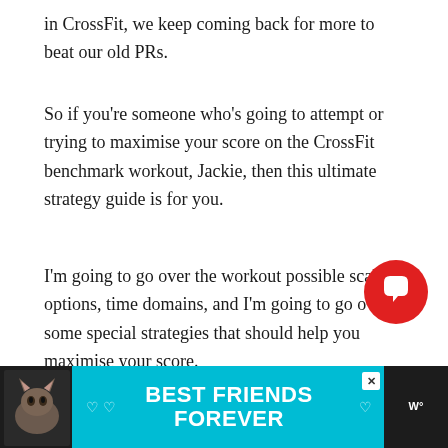in CrossFit, we keep coming back for more to beat our old PRs.
So if you're someone who's going to attempt or trying to maximise your score on the CrossFit benchmark workout, Jackie, then this ultimate strategy guide is for you.
I'm going to go over the workout possible scaling options, time domains, and I'm going to go over some special strategies that should help you maximise your score.
What is CrossFit
[Figure (other): Red circular chat/comment button icon overlay in bottom-right area of content]
[Figure (other): Advertisement banner at bottom: teal background with cat photo on left, text 'BEST FRIENDS FOREVER' in white bold font with heart decorations, close button, and logo on right]